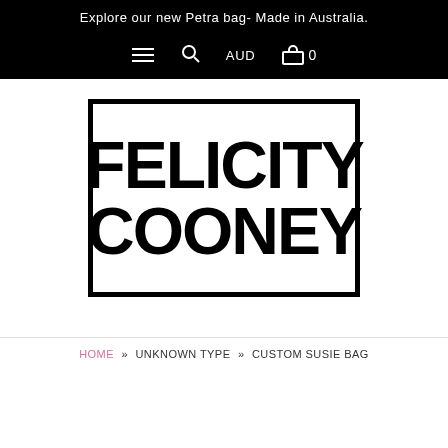Explore our new Petra bag- Made in Australia.
[Figure (logo): Felicity Cooney brand logo: black bold text 'FELICITY COONEY' inside a black rectangle border on white background]
HOME » UNKNOWN TYPE » CUSTOM SUSIE BAG